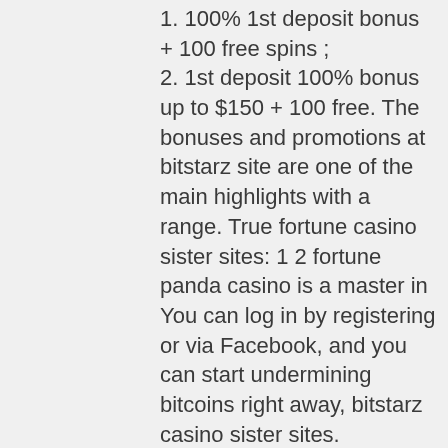1. 100% 1st deposit bonus + 100 free spins ;
2. 1st deposit 100% bonus up to $150 + 100 free. The bonuses and promotions at bitstarz site are one of the main highlights with a range. True fortune casino sister sites: 1 2 fortune panda casino is a master in You can log in by registering or via Facebook, and you can start undermining bitcoins right away, bitstarz casino sister sites. The goal of every player is to make predictions about coin value. This is both cryptocurrency and fiat money markets such as Forex. The more accurately you predict the outcome of trading, the bigger number of points you can unlock. Later, these points can be exchanged for Bitcoin, bitstarz ei talletusbonusta 20 ilmaiskierroksia. The development company of this game has also created several tutorials and resources to help gamers get more successful in it and win more.